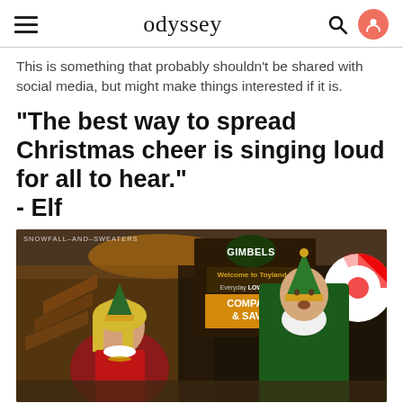odyssey
This is something that probably shouldn't be shared with social media, but might make things interested if it is.
"The best way to spread Christmas cheer is singing loud for all to hear." - Elf
[Figure (photo): Scene from the movie Elf showing two characters in elf costumes inside a Gimbels department store. A woman in a red elf outfit and a tall man in a green elf costume are visible. A Gimbels sign reading 'Welcome to Toyland, Everyday Low Prices, Compare & Save!' is in the background. Watermark reads SNOWFALL-AND-SWEATERS.]